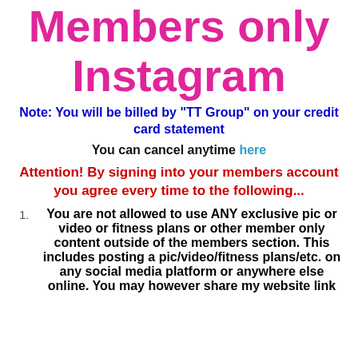Members only Instagram
Note: You will be billed by "TT Group" on your credit card statement
You can cancel anytime here
Attention! By signing into your members account you agree every time to the following...
You are not allowed to use ANY exclusive pic or video or fitness plans or other member only content outside of the members section. This includes posting a pic/video/fitness plans/etc. on any social media platform or anywhere else online. You may however share my website link